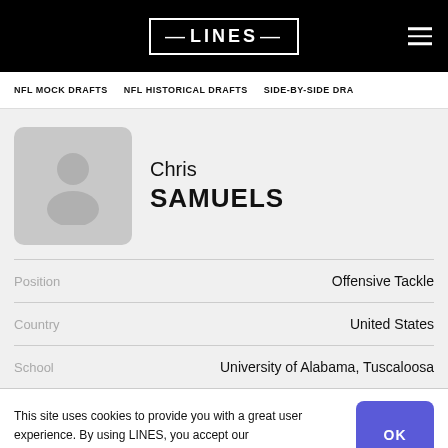LINES
NFL MOCK DRAFTS   NFL HISTORICAL DRAFTS   SIDE-BY-SIDE DRA
[Figure (illustration): Gray avatar placeholder with silhouette of a person]
Chris SAMUELS
| Label | Value |
| --- | --- |
| Position | Offensive Tackle |
| Country | United States |
| School | University of Alabama, Tuscaloosa |
This site uses cookies to provide you with a great user experience. By using LINES, you accept our use of cookies.